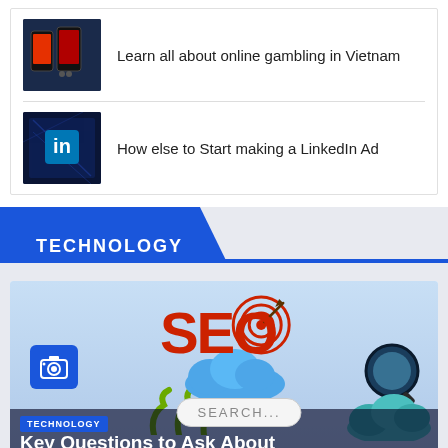[Figure (illustration): Smartphone gambling app thumbnail image]
Learn all about online gambling in Vietnam
[Figure (illustration): LinkedIn dark themed thumbnail with LinkedIn logo]
How else to Start making a LinkedIn Ad
TECHNOLOGY
[Figure (illustration): SEO themed illustration with large red SEO text, target with arrow, blue clouds, magnifying glass, green claws, and a search bar. A camera icon button on the lower left.]
TECHNOLOGY
Key Questions to Ask About